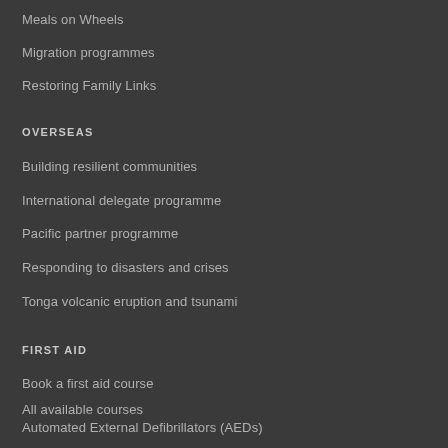Meals on Wheels
Migration programmes
Restoring Family Links
OVERSEAS
Building resilient communities
International delegate programme
Pacific partner programme
Responding to disasters and crises
Tonga volcanic eruption and tsunami
FIRST AID
Book a first aid course
All available courses
Automated External Defibrillators (AEDs)
First Aid App